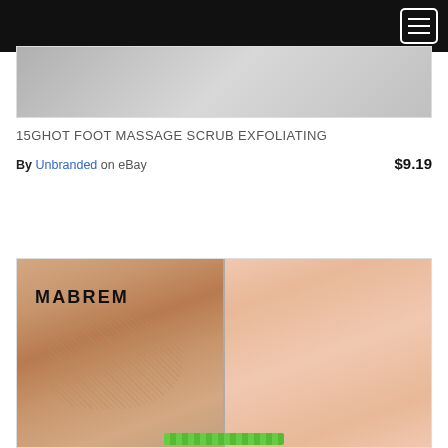[Figure (screenshot): Top black navigation bar with hamburger menu icon (three horizontal lines) in white border box at top right]
[Figure (photo): Partial product image strip showing dark green/black product at left and a product at right, cropped]
15GHOT FOOT MASSAGE SCRUB EXFOLIATING
By Unbranded on eBay   $9.19
[Figure (photo): Before-and-after photo of feet soles. Left half shows dry cracked foot skin with peeling. Right half shows smooth clean foot skin. MABREM logo text top left. Green product bar visible at bottom center.]